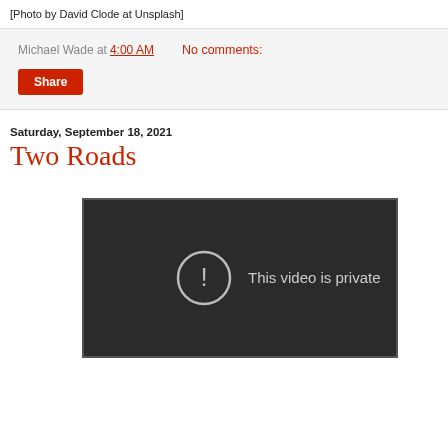[Photo by David Clode at Unsplash]
Michael Wade at 4:00 AM   No comments:
Share
Saturday, September 18, 2021
Two Roads
[Figure (screenshot): Embedded video player showing 'This video is private' error message with an exclamation mark icon on a dark background.]